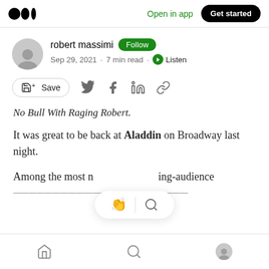Medium logo | Open in app | Get started
robert massimi · Follow · Sep 29, 2021 · 7 min read · Listen
Save (with social share icons: Twitter, Facebook, LinkedIn, link)
No Bull With Raging Robert.
It was great to be back at Aladdin on Broadway last night.
Among the most n [clap/search overlay] ing-audience
Home | Search | Profile (bottom nav)